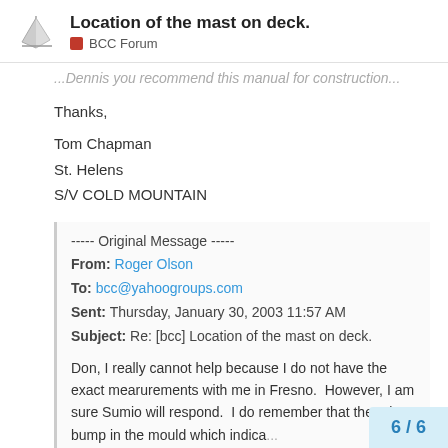Location of the mast on deck. | BCC Forum
...Dennis you recommend this manual for construction...
Thanks,

Tom Chapman
St. Helens
S/V COLD MOUNTAIN
----- Original Message -----
From: Roger Olson
To: bcc@yahoogroups.com
Sent: Thursday, January 30, 2003 11:57 AM
Subject: Re: [bcc] Location of the mast on deck.

Don, I really cannot help because I do not have the exact mearurements with me in Fresno.  However, I am sure Sumio will respond.  I do remember that there is a bump in the mould which indica... the hole. This should show up as a d...
6 / 6